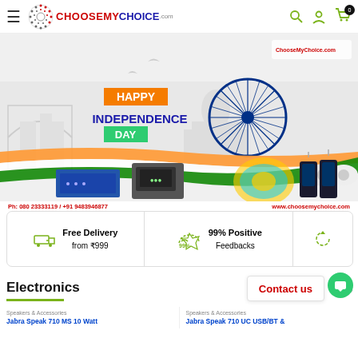CHOOSEMYCHOICE.com
[Figure (illustration): Happy Independence Day banner for ChooseMyChoice.com featuring Indian flag colors (orange, white, green), Ashoka Chakra, Indian monuments silhouettes, doves, and electronics products (network switch, biometric device, fiber optic cables, dome cameras, walkie-talkies)]
Ph: 080 23333119 / +91 9483946877   www.choosemychoice.com
Free Delivery from ₹999
99% Positive Feedbacks
Electronics
Contact us
Speakers & Accessories
Jabra Speak 710 MS 10 Watt
Speakers & Accessories
Jabra Speak 710 UC USB/BT &